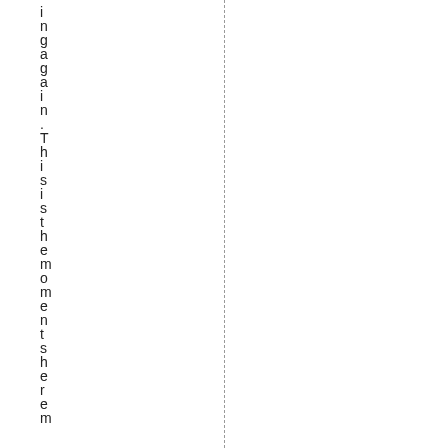ingagain. This is the moment shere m